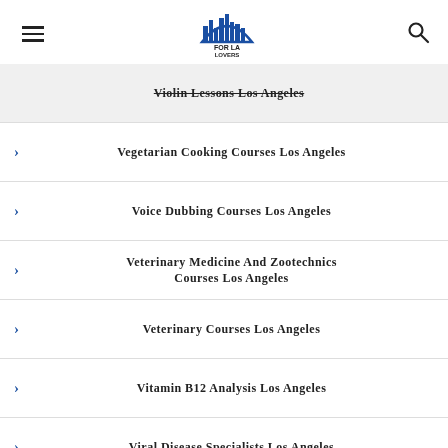FOR LA LOVERS
Violin Lessons Los Angeles
Vegetarian Cooking Courses Los Angeles
Voice Dubbing Courses Los Angeles
Veterinary Medicine And Zootechnics Courses Los Angeles
Veterinary Courses Los Angeles
Vitamin B12 Analysis Los Angeles
Viral Disease Specialists Los Angeles
Varicella Specialists Los Angeles